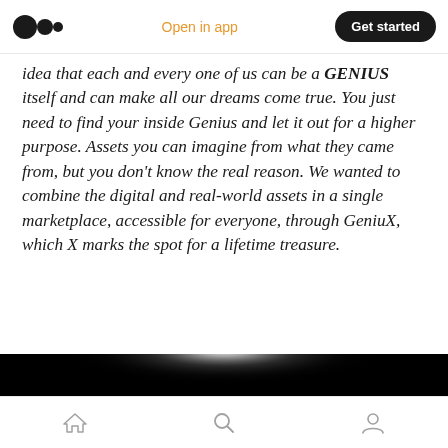Medium app header — logo, Open in app, Get started
idea that each and every one of us can be a GENIUS itself and can make all our dreams come true. You just need to find your inside Genius and let it out for a higher purpose. Assets you can imagine from what they came from, but you don't know the real reason. We wanted to combine the digital and real-world assets in a single marketplace, accessible for everyone, through GeniuX, which X marks the spot for a lifetime treasure.
[Figure (photo): Dark atmospheric image with a bright light source glowing near the center-top against a black background, resembling a spotlight or horizon glow.]
Bottom navigation bar with home, search, and profile icons